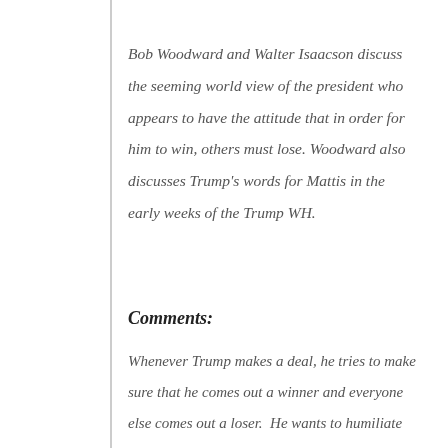Bob Woodward and Walter Isaacson discuss the seeming world view of the president who appears to have the attitude that in order for him to win, others must lose. Woodward also discusses Trump's words for Mattis in the early weeks of the Trump WH.
Comments:
Whenever Trump makes a deal, he tries to make sure that he comes out a winner and everyone else comes out a loser. He wants to humiliate his